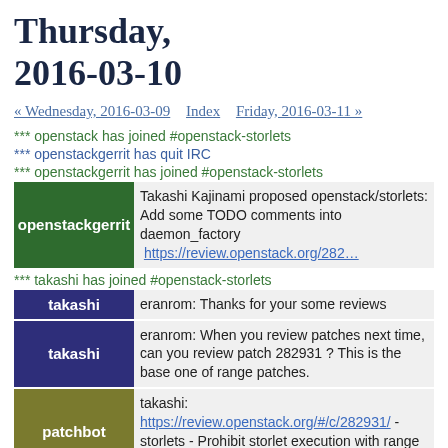Thursday, 2016-03-10
« Wednesday, 2016-03-09   Index   Friday, 2016-03-11 »
*** openstack has joined #openstack-storlets
*** openstackgerrit has quit IRC
*** openstackgerrit has joined #openstack-storlets
openstackgerrit: Takashi Kajinami proposed openstack/storlets: Add some TODO comments into daemon_factory  https://review.openstack.org/282...
*** takashi has joined #openstack-storlets
takashi: eranrom: Thanks for your some reviews
takashi: eranrom: When you review patches next time, can you review patch 282931 ? This is the base one of range patches.
patchbot: takashi: https://review.openstack.org/#/c/282931/ - storlets - Prohibit storlet execution with range head...
openstackgerrit: Merged openstack/storlets: Add some TODO comments into daemon_factory  https://review.openstack.org/282...